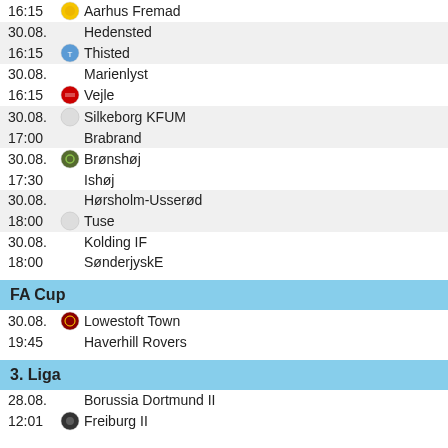16:15 | Aarhus Fremad
30.08. | Hedensted
16:15 | Thisted
30.08. | Marienlyst
16:15 | Vejle
30.08. | Silkeborg KFUM
17:00 | Brabrand
30.08. | Brønshøj
17:30 | Ishøj
30.08. | Hørsholm-Usserød
18:00 | Tuse
30.08. | Kolding IF
18:00 | SønderjyskE
FA Cup
30.08. | Lowestoft Town
19:45 | Haverhill Rovers
3. Liga
28.08. | Borussia Dortmund II
12:01 | Freiburg II